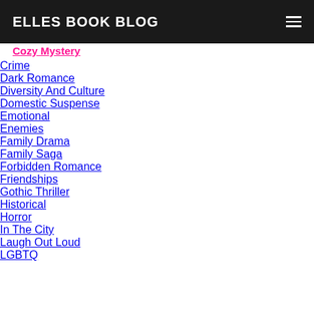ELLES BOOK BLOG
Cozy Mystery
Crime
Dark Romance
Diversity And Culture
Domestic Suspense
Emotional
Enemies
Family Drama
Family Saga
Forbidden Romance
Friendships
Gothic Thriller
Historical
Horror
In The City
Laugh Out Loud
LGBTQ